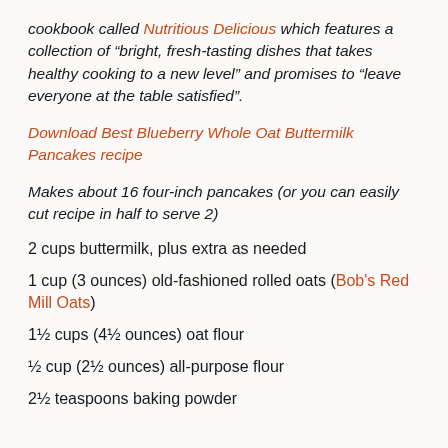cookbook called Nutritious Delicious which features a collection of “bright, fresh-tasting dishes that takes healthy cooking to a new level” and promises to “leave everyone at the table satisfied”.
Download Best Blueberry Whole Oat Buttermilk Pancakes recipe
Makes about 16 four-inch pancakes (or you can easily cut recipe in half to serve 2)
2 cups buttermilk, plus extra as needed
1 cup (3 ounces) old-fashioned rolled oats (Bob’s Red Mill Oats)
1½ cups (4½ ounces) oat flour
½ cup (2½ ounces) all-purpose flour
2½ teaspoons baking powder